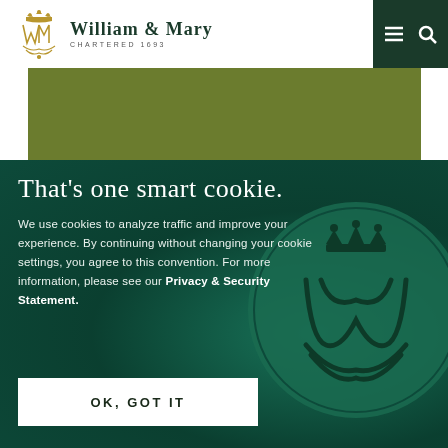[Figure (logo): William & Mary university logo with gold WM monogram and text 'William & Mary / Chartered 1693']
[Figure (illustration): Navigation icons (hamburger menu and search) on dark green background]
[Figure (other): Olive green content band/rectangle]
That's one smart cookie.
We use cookies to analyze traffic and improve your experience. By continuing without changing your cookie settings, you agree to this convention. For more information, please see our Privacy & Security Statement.
[Figure (illustration): William & Mary wax seal in dark teal/green circle with royal cipher WM monogram and crown]
OK, GOT IT